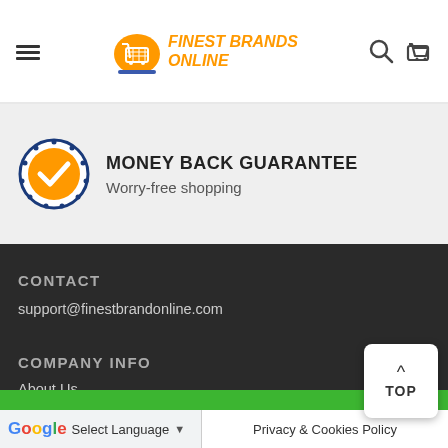FINEST BRANDS ONLINE
[Figure (logo): Finest Brands Online logo with orange shopping cart icon and orange italic bold text reading FINEST BRANDS ONLINE]
MONEY BACK GUARANTEE
Worry-free shopping
CONTACT
support@finestbrandonline.com
COMPANY INFO
About Us
ADD TO CART
Select Language
Privacy & Cookies Policy